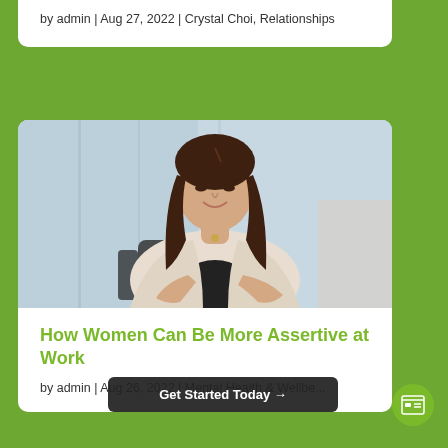by admin | Aug 27, 2022 | Crystal Choi, Relationships
[Figure (photo): Professional woman with long dark hair sitting in an office chair, wearing a cream blazer over a black top, smiling at camera. Office/glass background.]
How Women Can Be More Assertive at Work
by admin | Aug 26, 2022 | Mental Health & Wellbe...
Get Started Today →